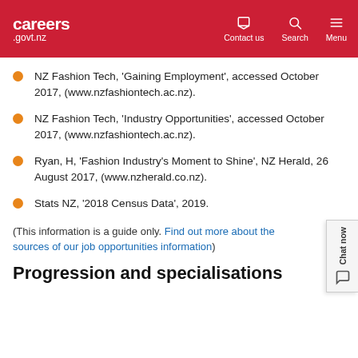careers .govt.nz | Contact us | Search | Menu
NZ Fashion Tech, 'Gaining Employment', accessed October 2017, (www.nzfashiontech.ac.nz).
NZ Fashion Tech, 'Industry Opportunities', accessed October 2017, (www.nzfashiontech.ac.nz).
Ryan, H, 'Fashion Industry's Moment to Shine', NZ Herald, 26 August 2017, (www.nzherald.co.nz).
Stats NZ, '2018 Census Data', 2019.
(This information is a guide only. Find out more about the sources of our job opportunities information)
Progression and specialisations